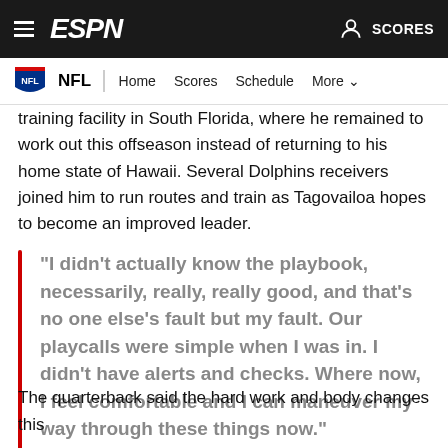ESPN — NFL | Home  Scores  Schedule  More
training facility in South Florida, where he remained to work out this offseason instead of returning to his home state of Hawaii. Several Dolphins receivers joined him to run routes and train as Tagovailoa hopes to become an improved leader.
"I didn't actually know the playbook, necessarily, really, really good, and that's no one else's fault but my fault. Our playcalls were simple when I was in. I didn't have alerts and checks. Where now, I feel comfortable and I can maneuver my way through these things now." — Dolphins QB Tua Tagovailoa
The quarterback said the hard work and body changes this